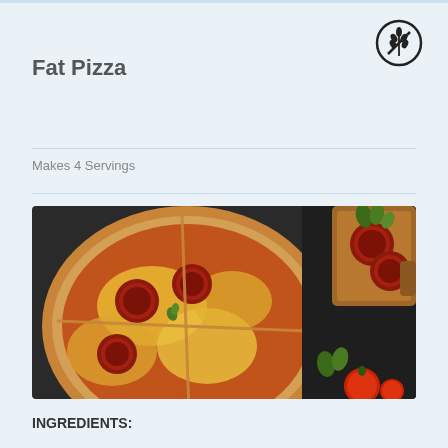[Figure (logo): Circular icon with a wheat/grain stalk crossed out, indicating gluten-free]
Fat Pizza
Makes 4 Servings
[Figure (photo): Overhead photo of a pepperoni pizza cut into slices on a wooden board, with salami slices on a cutting board, fresh parsley, and tomatoes on a dark slate background]
INGREDIENTS: